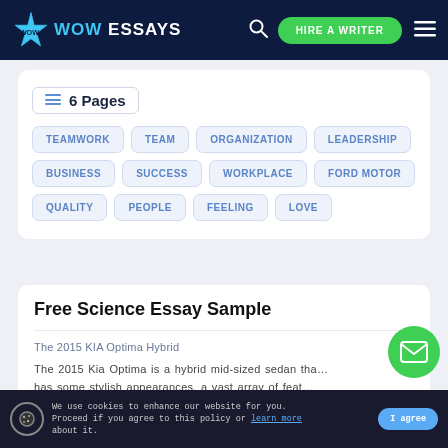WOW ESSAYS — HIRE A WRITER
6 Pages
TEAMWORK
TEAM
ORGANIZATION
LEADERSHIP
BUSINESS
SUCCESS
WORKPLACE
FORD MOTOR
QUALITY
PEOPLE
FEELING
LOVE
Free Science Essay Sample
The 2015 KIA Optima Hybrid
The 2015 Kia Optima is a hybrid mid-sized sedan that has some stylish appearances, a vast array of feat…
We use cookies to enhance our website for you. Proceed if you agree to this policy or learn more about it.